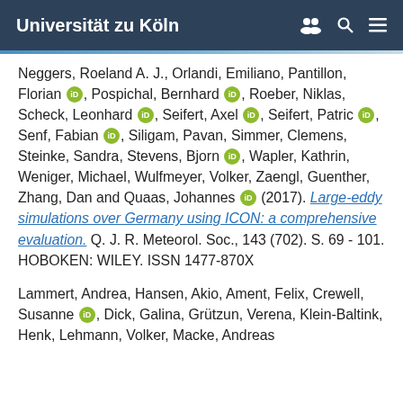Universität zu Köln
Neggers, Roeland A. J., Orlandi, Emiliano, Pantillon, Florian [orcid], Pospichal, Bernhard [orcid], Roeber, Niklas, Scheck, Leonhard [orcid], Seifert, Axel [orcid], Seifert, Patric [orcid], Senf, Fabian [orcid], Siligam, Pavan, Simmer, Clemens, Steinke, Sandra, Stevens, Bjorn [orcid], Wapler, Kathrin, Weniger, Michael, Wulfmeyer, Volker, Zaengl, Guenther, Zhang, Dan and Quaas, Johannes [orcid] (2017). Large-eddy simulations over Germany using ICON: a comprehensive evaluation. Q. J. R. Meteorol. Soc., 143 (702). S. 69 - 101. HOBOKEN: WILEY. ISSN 1477-870X
Lammert, Andrea, Hansen, Akio, Ament, Felix, Crewell, Susanne [orcid], Dick, Galina, Grützun, Verena, Klein-Baltink, Henk, Lehmann, Volker, Macke, Andreas